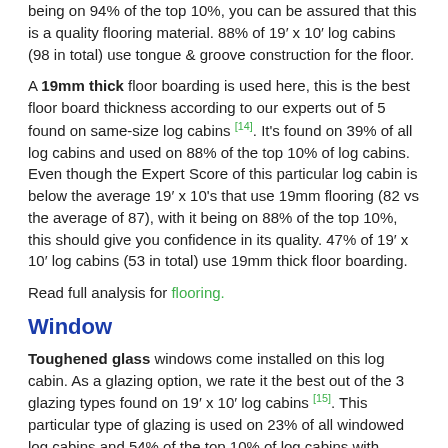being on 94% of the top 10%, you can be assured that this is a quality flooring material. 88% of 19' x 10' log cabins (98 in total) use tongue & groove construction for the floor.
A 19mm thick floor boarding is used here, this is the best floor board thickness according to our experts out of 5 found on same-size log cabins [14]. It's found on 39% of all log cabins and used on 88% of the top 10% of log cabins. Even though the Expert Score of this particular log cabin is below the average 19' x 10's that use 19mm flooring (82 vs the average of 87), with it being on 88% of the top 10%, this should give you confidence in its quality. 47% of 19' x 10' log cabins (53 in total) use 19mm thick floor boarding.
Read full analysis for flooring.
Window
Toughened glass windows come installed on this log cabin. As a glazing option, we rate it the best out of the 3 glazing types found on 19' x 10' log cabins [15]. This particular type of glazing is used on 23% of all windowed log cabins and 54% of the top 10% of log cabins with windows we analysed. Even though the Expert Score of this particular log cabin is 8 points below the average of 90 for